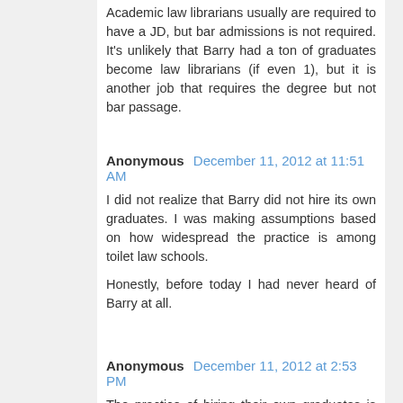Academic law librarians usually are required to have a JD, but bar admissions is not required. It's unlikely that Barry had a ton of graduates become law librarians (if even 1), but it is another job that requires the degree but not bar passage.
Anonymous  December 11, 2012 at 11:51 AM
I did not realize that Barry did not hire its own graduates. I was making assumptions based on how widespread the practice is among toilet law schools.
Honestly, before today I had never heard of Barry at all.
Anonymous  December 11, 2012 at 2:53 PM
The practice of hiring their own graduates is actually not very common among "toilet" law schools. unless you are counting lots of the